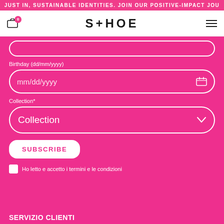JUST IN, SUSTAINABLE IDENTITIES. JOIN OUR POSITIVE-IMPACT JOU
[Figure (logo): SHOE brand logo with shopping cart icon and hamburger menu]
Birthday (dd/mm/yyyy)
mm/dd/yyyy
Collection*
Collection
SUBSCRIBE
Ho letto e accetto i termini e le condizioni
SERVIZIO CLIENTI
RESI